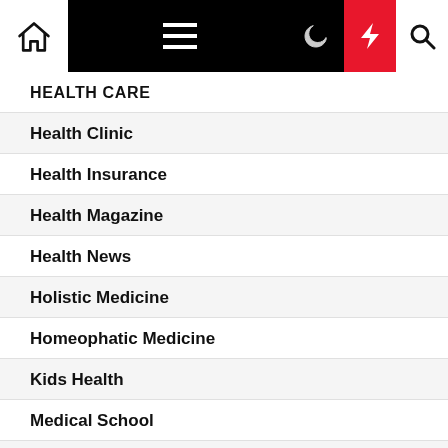[Figure (screenshot): Website navigation bar with home icon, hamburger menu, moon icon, lightning bolt icon (red background), and search icon]
HEALTH CARE
Health Clinic
Health Insurance
Health Magazine
Health News
Holistic Medicine
Homeophatic Medicine
Kids Health
Medical School
MEDICINE